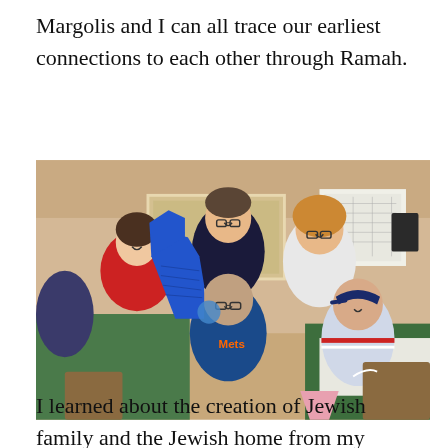Margolis and I can all trace our earliest connections to each other through Ramah.
[Figure (photo): Group photo of five people posing together in what appears to be a banquet hall or event room. One person in the center is holding a large blue foam finger. People are wearing sports jerseys and casual clothing. The room has green-tablecloth tables in the background.]
I learned about the creation of Jewish family and the Jewish home from my parents and grandparents; but I